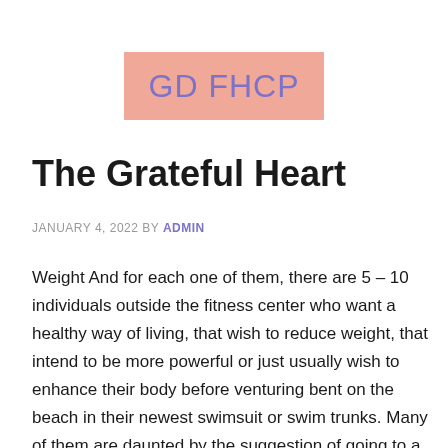[Figure (logo): GD FHCP logo — salmon/pink rectangular background with purple text reading 'GD FHCP']
The Grateful Heart
JANUARY 4, 2022 BY ADMIN
Weight And for each one of them, there are 5 – 10 individuals outside the fitness center who want a healthy way of living, that wish to reduce weight, that intend to be more powerful or just usually wish to enhance their body before venturing bent on the beach in their newest swimsuit or swim trunks. Many of them are daunted by the suggestion of going to a fitness center and also wish to train in your home, however they have no concept just how to start. Others aren't intimidated, yet they aren't extremely